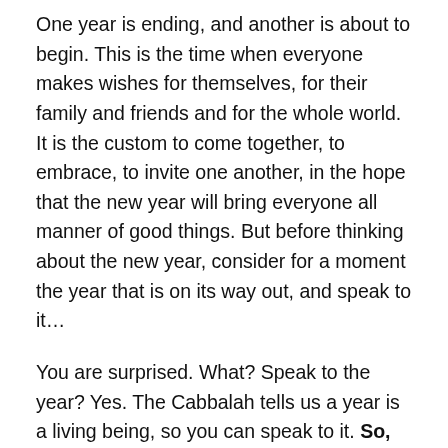One year is ending, and another is about to begin. This is the time when everyone makes wishes for themselves, for their family and friends and for the whole world. It is the custom to come together, to embrace, to invite one another, in the hope that the new year will bring everyone all manner of good things. But before thinking about the new year, consider for a moment the year that is on its way out, and speak to it…
You are surprised. What? Speak to the year? Yes. The Cabbalah tells us a year is a living being, so you can speak to it. So, talk to the year that is departing, and ask it to remember you. As it is alive, it doesn't remain inactive; it has recorded not only your actions but also your wishes, your feelings and your thoughts. On the last day, it